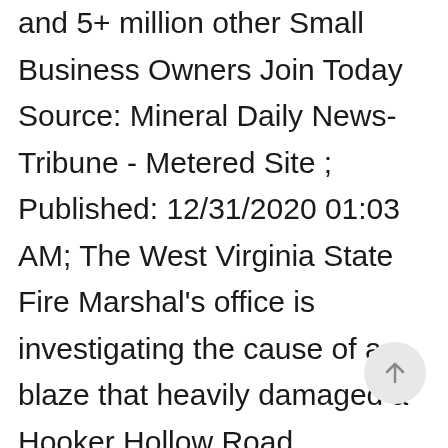and 5+ million other Small Business Owners Join Today Source: Mineral Daily News-Tribune - Metered Site ; Published: 12/31/2020 01:03 AM; The West Virginia State Fire Marshal's office is investigating the cause of a blaze that heavily damaged a Hooker Hollow Road residence early Wednesday morning. Latest crime News: Pursuit leads WV State Police through the City of Beckley… BPD Detective Cpl. BECKLEY, WV (AP)